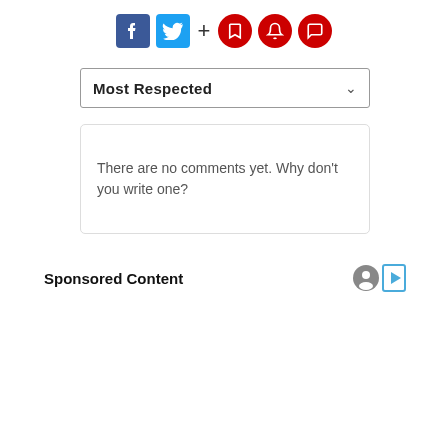[Figure (screenshot): Social media sharing buttons: Facebook (blue square), Twitter (light blue square), plus sign, and three red circle icons (bookmark, bell, comment)]
Most Respected
There are no comments yet. Why don't you write one?
Sponsored Content